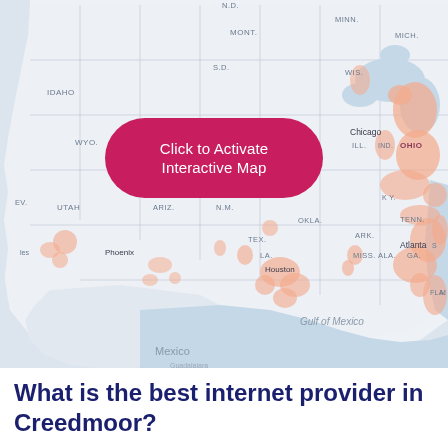[Figure (map): Interactive map of the United States showing internet provider coverage areas. States are labeled with abbreviations including MONT., N.D., MINN., S.D., WIS., MICH., IDAHO, WYO., OHIO, EV., UTAH, ILL., IND., KY., OKLA., ARK., TENN., ARIZ., N.M., TEX., MISS., ALA., GA., LA., FLA. Cities labeled include Chicago, Atlanta, Phoenix, Houston. Mexico and Gulf of Mexico labeled in southern portion. Coverage areas shown in salmon/orange color scattered across eastern and southern US.]
Click to Activate Interactive Map
What is the best internet provider in Creedmoor?